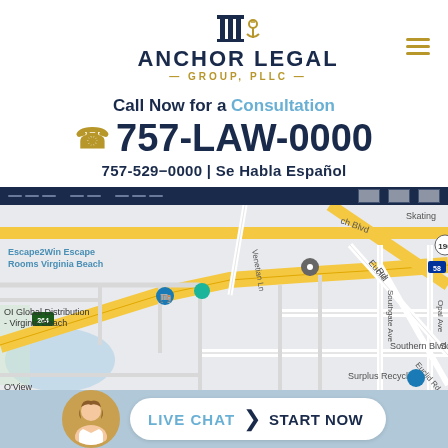[Figure (logo): Anchor Legal Group PLLC logo with pillar/anchor icon]
Call Now for a Consultation
757-LAW-0000
757-529-0000 | Se Habla Español
[Figure (map): Google Maps screenshot showing Virginia Beach area with streets including Cleveland St, Southern Blvd, Euclid Rd, Southgate Ave, Opal Ave, Venetian Ln, and landmarks including Escape2Win Escape Rooms Virginia Beach, OI Global Distribution Virginia Beach, Surplus Recycling. Highway 264 and 190 visible.]
LIVE CHAT  START NOW